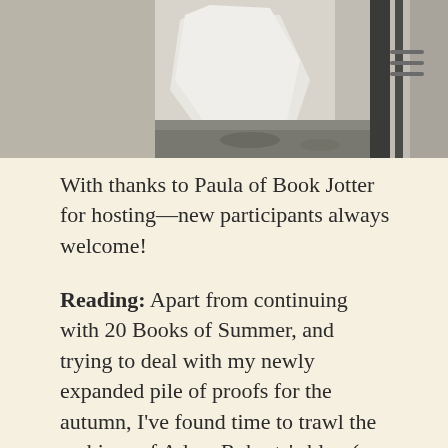[Figure (photo): Black and white photograph showing a person in white clothing near what appears to be a window or glass structure, with snowy or rocky ground visible]
With thanks to Paula of Book Jotter for hosting—new participants always welcome!
Reading: Apart from continuing with 20 Books of Summer, and trying to deal with my newly expanded pile of proofs for the autumn, I've found time to trawl the archives of Adam Roberts's blog (or one of them, anyway), Morphosis. Roberts is a writer of SF whose work is weird and erudite and very far up my street: his most recent book is a virtual-reality murder mystery called The Real-Town Murders, but he's probably best known for Jack Glass, which is